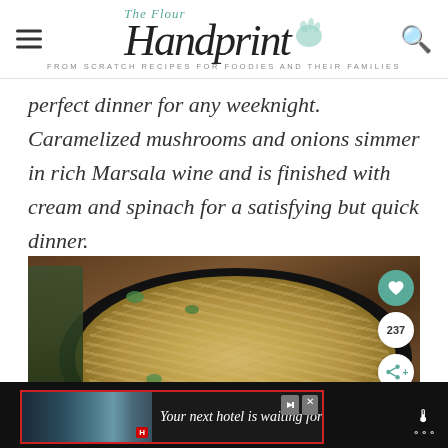The Flour Handprint — FROM SCRATCH RECIPES FOR FOODIES AND THEIR FAMILIES
perfect dinner for any weeknight. Caramelized mushrooms and onions simmer in rich Marsala wine and is finished with cream and spinach for a satisfying but quick dinner.
[Figure (photo): Overhead photo of a cast iron pan filled with creamy mushroom ramen noodles with spinach, on a wooden table. A bottle and glass of green liquid visible on the left side. Social action buttons (heart, 237 save count, share) on the right side.]
Your next hotel is waiting for you